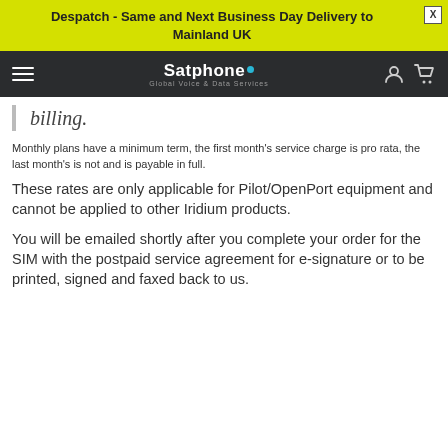Despatch - Same and Next Business Day Delivery to Mainland UK
[Figure (logo): Satphone - Global Voice & Data Services logo on dark navigation bar]
billing.
Monthly plans have a minimum term, the first month's service charge is pro rata, the last month's is not and is payable in full.
These rates are only applicable for Pilot/OpenPort equipment and cannot be applied to other Iridium products.
You will be emailed shortly after you complete your order for the SIM with the postpaid service agreement for e-signature or to be printed, signed and faxed back to us.